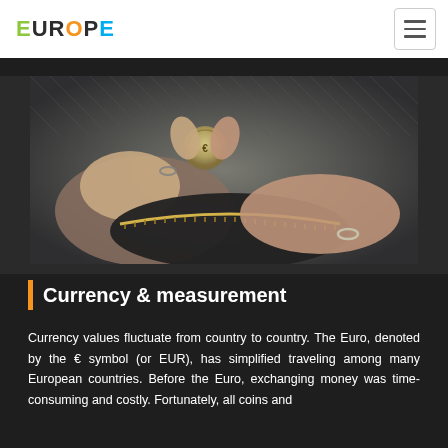EUROPE
[Figure (photo): Close-up photo of hands holding a coin over an open zipper wallet/coin purse, with a knitted sweater visible in the background.]
Currency & measurement
Currency values fluctuate from country to country. The Euro, denoted by the € symbol (or EUR), has simplified traveling among many European countries. Before the Euro, exchanging money was time-consuming and costly. Fortunately, all coins and